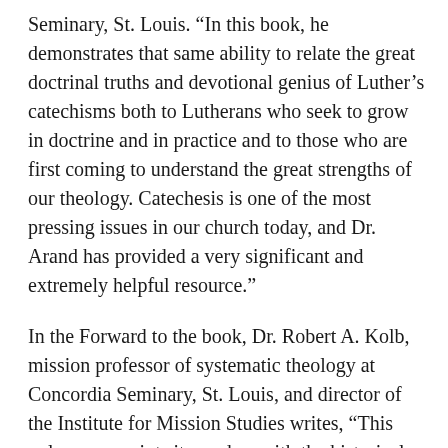Seminary, St. Louis. “In this book, he demonstrates that same ability to relate the great doctrinal truths and devotional genius of Luther’s catechisms both to Lutherans who seek to grow in doctrine and in practice and to those who are first coming to understand the great strengths of our theology. Catechesis is one of the most pressing issues in our church today, and Dr. Arand has provided a very significant and extremely helpful resource.”
In the Forward to the book, Dr. Robert A. Kolb, mission professor of systematic theology at Concordia Seminary, St. Louis, and director of the Institute for Mission Studies writes, “This volume acquaints its readers with the historical setting in which Luther composed his catechisms. Professor Arand’s carefully crafted survey of the context of medieval instruction and piety bring to life